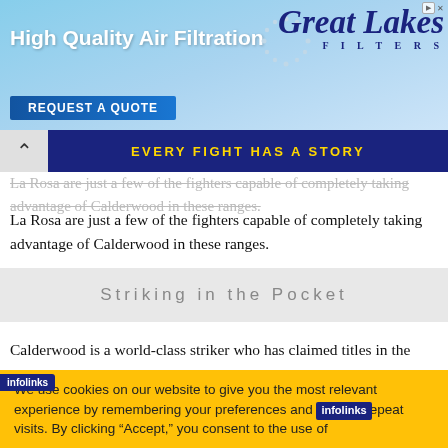[Figure (other): Advertisement banner for Great Lakes Filters - High Quality Air Filtration with REQUEST A QUOTE button]
EVERY FIGHT HAS A STORY
La Rosa are just a few of the fighters capable of completely taking advantage of Calderwood in these ranges.
Striking in the Pocket
Calderwood is a world-class striker who has claimed titles in the
We use cookies on our website to give you the most relevant experience by remembering your preferences and repeat visits. By clicking “Accept,” you consent to the use of
[Figure (other): Ryder Cup advertisement - GET TICKET UPDATES with Ryder Cup logo and golf players photo]